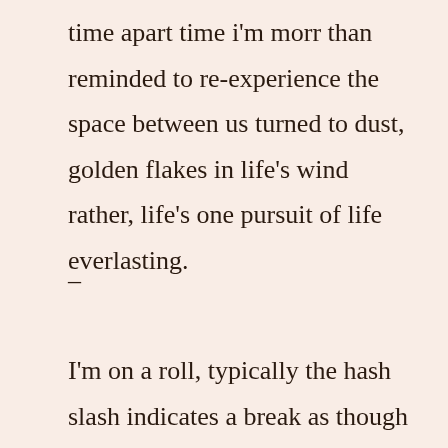time apart time i'm morr than reminded to re-experience the space between us turned to dust, golden flakes in life's wind rather, life's one pursuit of life everlasting.
–
I'm on a roll, typically the hash slash indicates a break as though the writer died to their time and